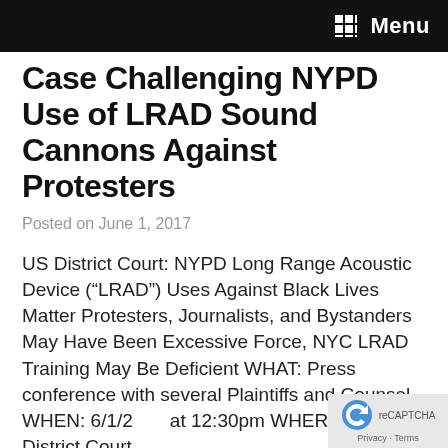Menu
Members in Civil Rights Case Challenging NYPD Use of LRAD Sound Cannons Against Protesters
Posted on June 1, 2017
US District Court: NYPD Long Range Acoustic Device (“LRAD”) Uses Against Black Lives Matter Protesters, Journalists, and Bystanders May Have Been Excessive Force, NYC LRAD Training May Be Deficient WHAT: Press conference with several Plaintiffs and Counsel WHEN: 6/1/2017 at 12:30pm WHERE: US District Court –